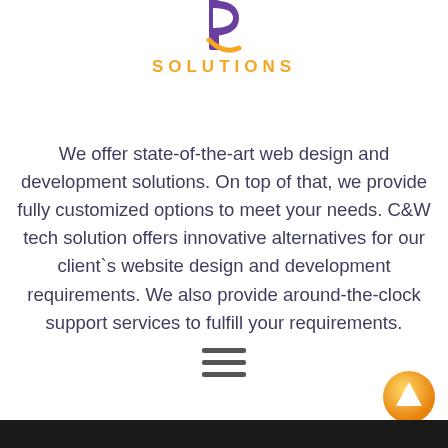[Figure (logo): Purple letter P logo mark with orange 'SOLUTIONS' text below]
We offer state-of-the-art web design and development solutions. On top of that, we provide fully customized options to meet your needs. C&W tech solution offers innovative alternatives for our client`s website design and development requirements. We also provide around-the-clock support services to fulfill your requirements.
[Figure (other): Hamburger menu icon (three horizontal lines)]
[Figure (other): Orange circular scroll-up button with upward arrow]